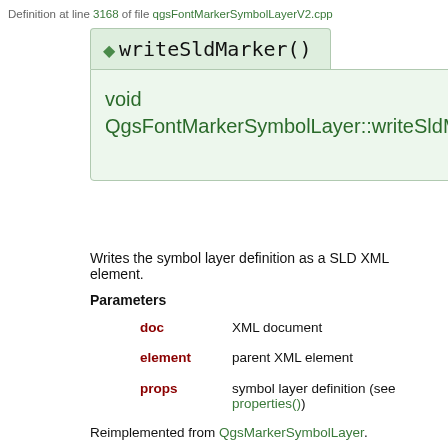Definition at line 3168 of file qgsFontMarkerSymbolLayerV2.cpp
◆ writeSldMarker()
Writes the symbol layer definition as a SLD XML element.
Parameters
doc — XML document
element — parent XML element
props — symbol layer definition (see properties())
Reimplemented from QgsMarkerSymbolLayer.